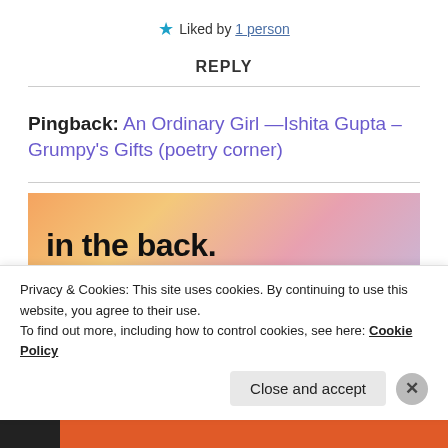★ Liked by 1 person
REPLY
Pingback: An Ordinary Girl —Ishita Gupta – Grumpy's Gifts (poetry corner)
[Figure (photo): Advertisement banner with dark bold text reading 'in the back.' on an orange-pink gradient background.]
Privacy & Cookies: This site uses cookies. By continuing to use this website, you agree to their use.
To find out more, including how to control cookies, see here: Cookie Policy
Close and accept